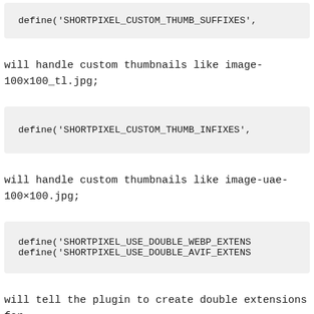define('SHORTPIXEL_CUSTOM_THUMB_SUFFIXES',
will handle custom thumbnails like image-100x100_tl.jpg;
define('SHORTPIXEL_CUSTOM_THUMB_INFIXES',
will handle custom thumbnails like image-uae-100×100.jpg;
define('SHORTPIXEL_USE_DOUBLE_WEBP_EXTENS'
define('SHORTPIXEL_USE_DOUBLE_AVIF_EXTENS'
will tell the plugin to create double extensions for